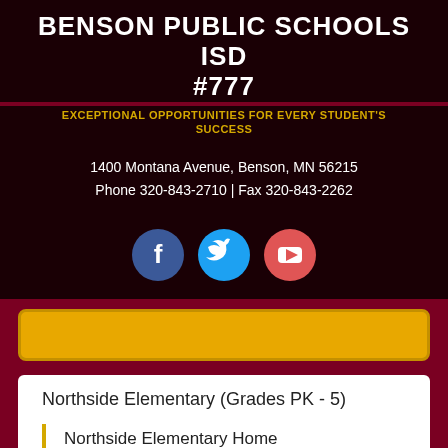BENSON PUBLIC SCHOOLS ISD #777
EXCEPTIONAL OPPORTUNITIES FOR EVERY STUDENT'S SUCCESS
1400 Montana Avenue, Benson, MN 56215
Phone 320-843-2710 | Fax 320-843-2262
[Figure (illustration): Three social media icon circles: Facebook (blue), Twitter (light blue), YouTube (red/coral)]
Northside Elementary (Grades PK - 5)
Northside Elementary Home
Parent-Student Handbook
Grade Level Supply List
Parent Portal (K-12)